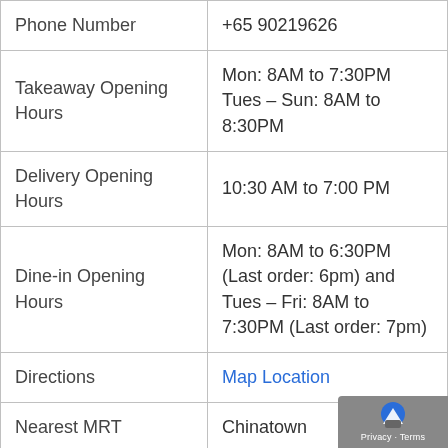|  |  |
| --- | --- |
| Phone Number | +65 90219626 |
| Takeaway Opening Hours | Mon: 8AM to 7:30PM
Tues – Sun: 8AM to 8:30PM |
| Delivery Opening Hours | 10:30 AM to 7:00 PM |
| Dine-in Opening Hours | Mon: 8AM to 6:30PM (Last order: 6pm) and Tues – Fri: 8AM to 7:30PM (Last order: 7pm) |
| Directions | Map Location |
| Nearest MRT | Chinatown |
|  | Baker's Bench Bakery, |